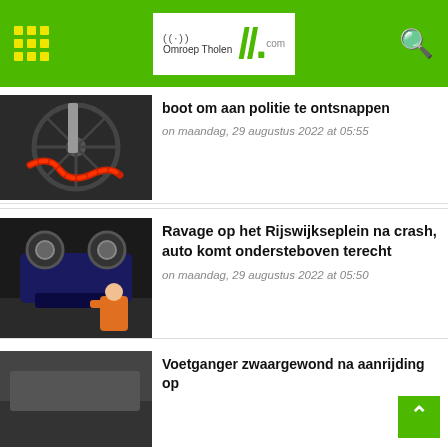Omroep Tholen
[Figure (photo): Close-up of bicycle wheel spokes with a red chain lock]
boot om aan politie te ontsnappen
on maandag, 29 augustus 2022 at 05:55
[Figure (photo): Car overturned upside down with emergency responder in orange gloves]
Ravage op het Rijswijkseplein na crash, auto komt ondersteboven terecht
on maandag, 29 augustus 2022 at 05:50
[Figure (photo): Partial view of third news article image (cropped at bottom)]
Voetganger zwaargewond na aanrijding op